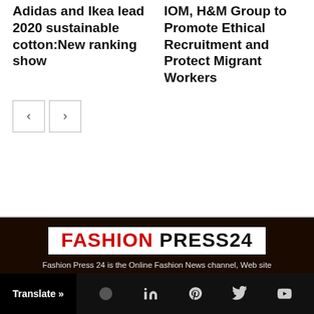Adidas and Ikea lead 2020 sustainable cotton:New ranking show
IOM, H&M Group to Promote Ethical Recruitment and Protect Migrant Workers
[Figure (other): Navigation previous and next buttons]
[Figure (logo): Fashion Press 24 logo with red FASHION and black PRESS24 text on white background]
Fashion Press 24 is the Online Fashion News channel, Web site and Monthly Magazine, jointly work with global brands and retailers in the Fashion, Garment, Textile, Leather and Footwear sector.
Contact us: editor@fashionpress24.com
Translate » [social icons: LinkedIn, Pinterest, Twitter, YouTube]